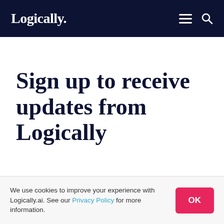Logically.
Sign up to receive updates from Logically
We use cookies to improve your experience with Logically.ai. See our Privacy Policy for more information.